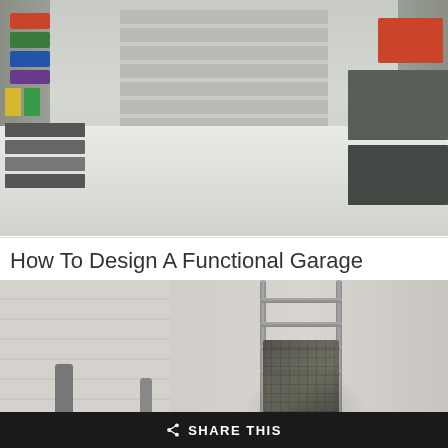[Figure (photo): Photo of a well-organized garage interior with shelving on both sides, colored storage bins on the left wall, red cabinet and workbench on the right, and a clean gray epoxy floor with a garage door visible in the background.]
How To Design A Functional Garage
[Figure (photo): Photo of a modern bathroom featuring white/beige tiled walls on the left, a chrome/steel towel rail on the right holding a dark checkered towel, a faucet at lower left, and a soap bottle near center.]
How To Choose Modern Bathroom Furniture
SHARE THIS